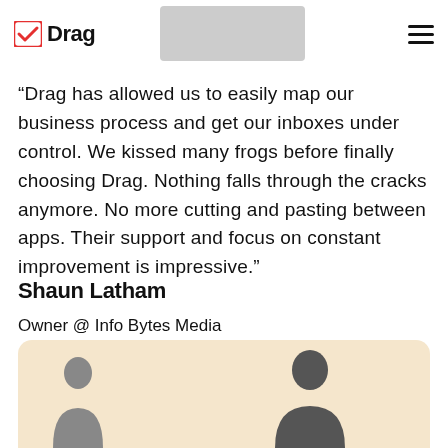Drag
“Drag has allowed us to easily map our business process and get our inboxes under control. We kissed many frogs before finally choosing Drag. Nothing falls through the cracks anymore. No more cutting and pasting between apps. Their support and focus on constant improvement is impressive.”
Shaun Latham
Owner @ Info Bytes Media
[Figure (photo): Profile photo card with warm beige background showing two person silhouettes at the bottom of the page]